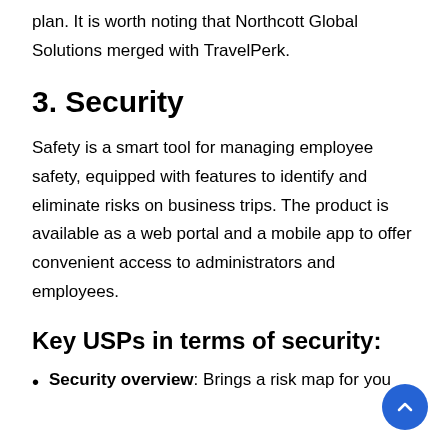plan. It is worth noting that Northcott Global Solutions merged with TravelPerk.
3. Security
Safety is a smart tool for managing employee safety, equipped with features to identify and eliminate risks on business trips. The product is available as a web portal and a mobile app to offer convenient access to administrators and employees.
Key USPs in terms of security:
Security overview: Brings a risk map for you